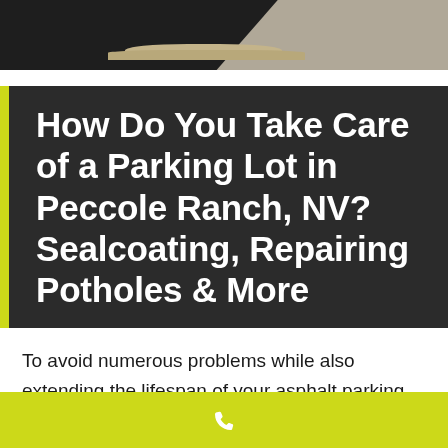[Figure (photo): Top photo strip showing dark asphalt pavement on the left and sandy/gravel material on the right]
How Do You Take Care of a Parking Lot in Peccole Ranch, NV? Sealcoating, Repairing Potholes & More
To avoid numerous problems while also extending the lifespan of your asphalt parking lot, scheduling parking lot maintenance during the summer is essential. A wide